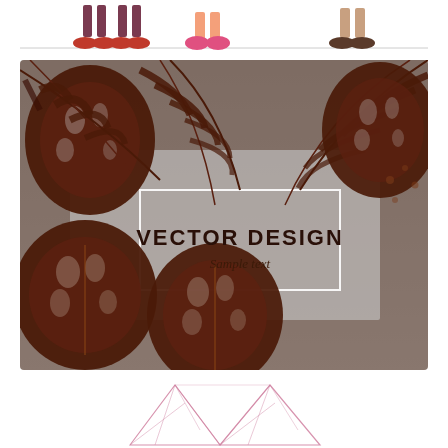[Figure (illustration): Cartoon character feet/legs with colorful shoes standing on a line, shown in a row across the top of the page]
[Figure (illustration): Decorative vector design banner with dark brown tropical monstera and palm leaves surrounding a white rectangular frame containing bold text 'VECTOR DESIGN' and subtitle 'Sample text' on a silver/grey background]
[Figure (illustration): Pink/rose wireframe geometric mountain/triangle shapes at the bottom of the page, low-poly style]